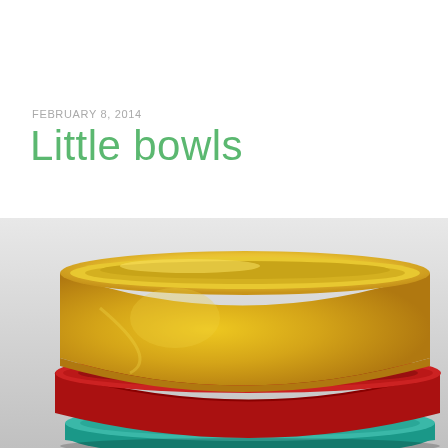FEBRUARY 8, 2014
Little bowls
[Figure (photo): Close-up photograph of three stacked ceramic bowls: a large yellow bowl on top, a red bowl in the middle, and a teal/turquoise bowl partially visible at the bottom, photographed against a light gray background.]